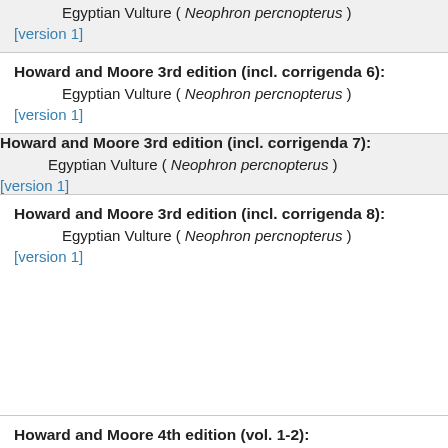Egyptian Vulture ( Neophron percnopterus )
[version 1]
Howard and Moore 3rd edition (incl. corrigenda 6):
Egyptian Vulture ( Neophron percnopterus )
[version 1]
Howard and Moore 3rd edition (incl. corrigenda 7):
Egyptian Vulture ( Neophron percnopterus )
[version 1]
Howard and Moore 3rd edition (incl. corrigenda 8):
Egyptian Vulture ( Neophron percnopterus )
[version 1]
Howard and Moore 4th edition (vol. 1-2):